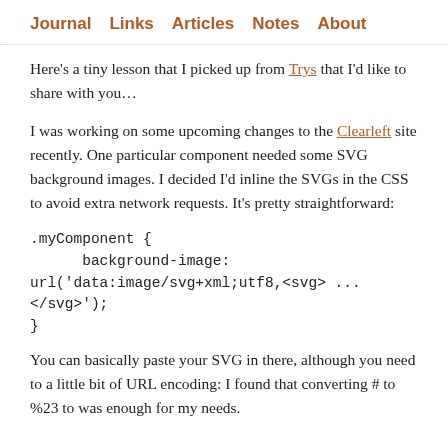Journal  Links  Articles  Notes  About
Here's a tiny lesson that I picked up from Trys that I'd like to share with you…
I was working on some upcoming changes to the Clearleft site recently. One particular component needed some SVG background images. I decided I'd inline the SVGs in the CSS to avoid extra network requests. It's pretty straightforward:
You can basically paste your SVG in there, although you need to a little bit of URL encoding: I found that converting # to %23 to was enough for my needs.